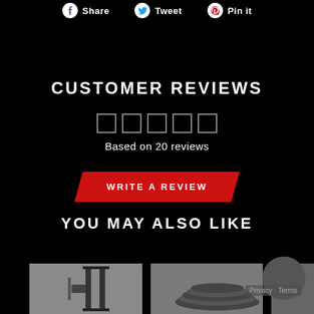Share  Tweet  Pin it
CUSTOMER REVIEWS
Based on 20 reviews
WRITE A REVIEW
YOU MAY ALSO LIKE
[Figure (photo): Product thumbnail 1: power rack on gray background]
[Figure (photo): Product thumbnail 2: weight plates/equipment on gray background]
[Figure (photo): Partially visible product thumbnail 3]
Privacy · Terms